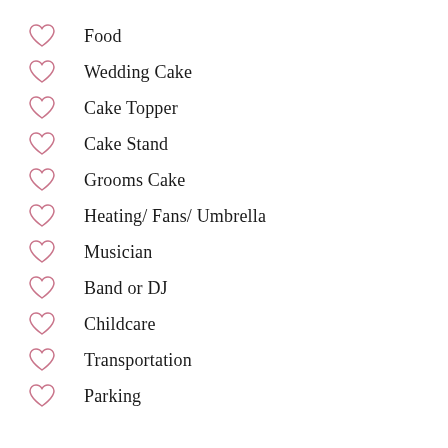Food
Wedding Cake
Cake Topper
Cake Stand
Grooms Cake
Heating/ Fans/ Umbrella
Musician
Band or DJ
Childcare
Transportation
Parking